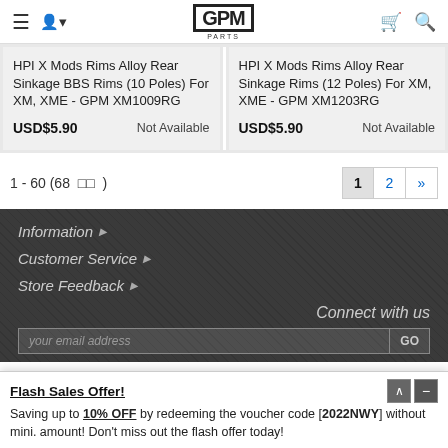GPM Parts - navigation header with menu, user, cart, search icons
HPI X Mods Rims Alloy Rear Sinkage BBS Rims (10 Poles) For XM, XME - GPM XM1009RG
USD$5.90	Not Available
HPI X Mods Rims Alloy Rear Sinkage Rims (12 Poles) For XM, XME - GPM XM1203RG
USD$5.90	Not Available
1 - 60 (68 □□ )
1  2  »
Information ▶
Customer Service ▶
Store Feedback ▶
Connect with us
your email address  GO
Flash Sales Offer!
Saving up to 10% OFF by redeeming the voucher code [2022NWY] without mini. amount! Don't miss out the flash offer today!